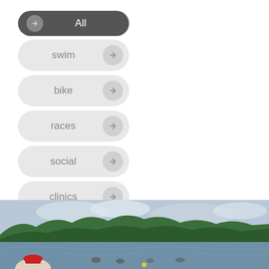All
swim
bike
races
social
clinics
run
[Figure (photo): Outdoor lake/reservoir scene with people near the water, trees in background, cloudy sky, and a person in a red hat visible in the foreground.]